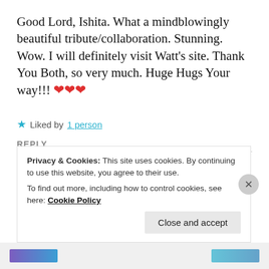Good Lord, Ishita. What a mindblowingly beautiful tribute/collaboration. Stunning. Wow. I will definitely visit Watt’s site. Thank You Both, so very much. Huge Hugs Your way!!! ❤️❤️❤️
★ Liked by 1 person
REPLY
ISHITA GUPTA
Jun 30, 2020 at 1:55 pm
Privacy & Cookies: This site uses cookies. By continuing to use this website, you agree to their use.
To find out more, including how to control cookies, see here: Cookie Policy